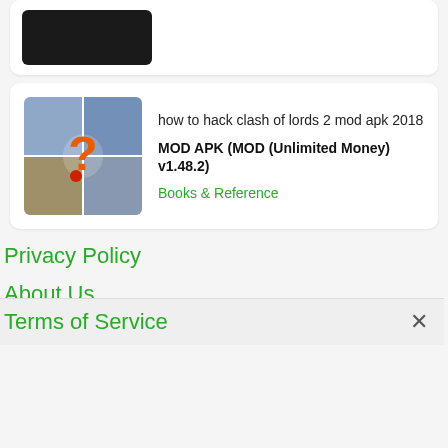[Figure (screenshot): Partial card at top showing a dark image thumbnail]
how to hack clash of lords 2 mod apk 2018
MOD APK (MOD (Unlimited Money) v1.48.2)
Books & Reference
Privacy Policy
About Us
Contact Us
Terms of Service